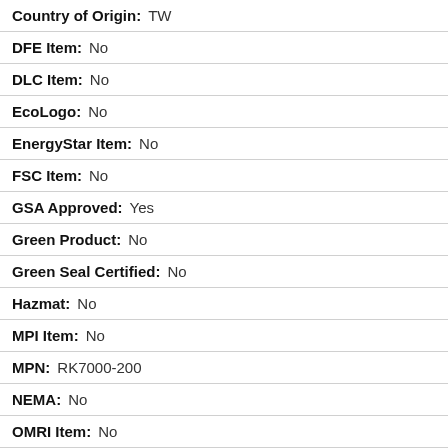Country of Origin: TW
DFE Item: No
DLC Item: No
EcoLogo: No
EnergyStar Item: No
FSC Item: No
GSA Approved: Yes
Green Product: No
Green Seal Certified: No
Hazmat: No
MPI Item: No
MPN: RK7000-200
NEMA: No
OMRI Item: No
Package Quantity: 1
Post-consumer Recycled Content: 0.0%
Pre-consumer Recycled Content: 0.0%